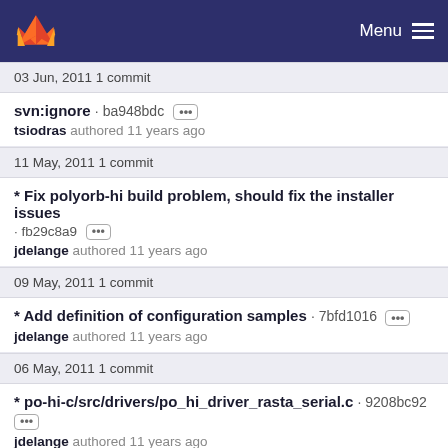GitLab — Menu
03 Jun, 2011 1 commit
svn:ignore · ba948bdc ···
tsiodras authored 11 years ago
11 May, 2011 1 commit
* Fix polyorb-hi build problem, should fix the installer issues · fb29c8a9 ···
jdelange authored 11 years ago
09 May, 2011 1 commit
* Add definition of configuration samples · 7bfd1016 ···
jdelange authored 11 years ago
06 May, 2011 1 commit
* po-hi-c/src/drivers/po_hi_driver_rasta_serial.c · 9208bc92 ···
jdelange authored 11 years ago